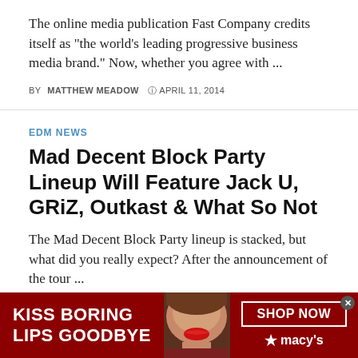The online media publication Fast Company credits itself as "the world's leading progressive business media brand." Now, whether you agree with ...
BY MATTHEW MEADOW  © APRIL 11, 2014
EDM NEWS
Mad Decent Block Party Lineup Will Feature Jack U, GRiZ, Outkast & What So Not
The Mad Decent Block Party lineup is stacked, but what did you really expect? After the announcement of the tour ...
BY TYLER TREW  © APRIL 7, 2014
[Figure (infographic): Red advertisement banner for Macy's cosmetics: 'KISS BORING LIPS GOODBYE' with a woman's face and red lips in center, SHOP NOW button and Macy's star logo on right, close button top right.]